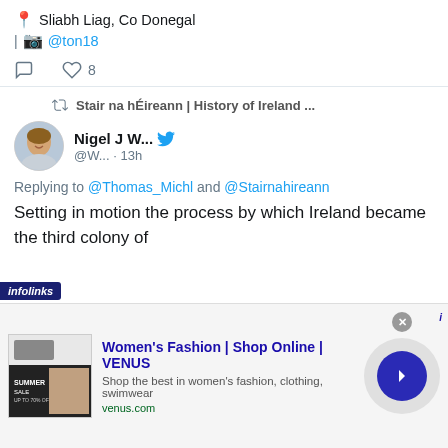📍 Sliabh Liag, Co Donegal | 📷 @ton18
comment icon  ♡ 8
🔁 Stair na hÉireann | History of Ireland ...
Nigel J W... @W... · 13h
Replying to @Thomas_Michl and @Stairnahireann
Setting in motion the process by which Ireland became the third colony of
infolinks
Women's Fashion | Shop Online | VENUS
Shop the best in women's fashion, clothing, swimwear
venus.com